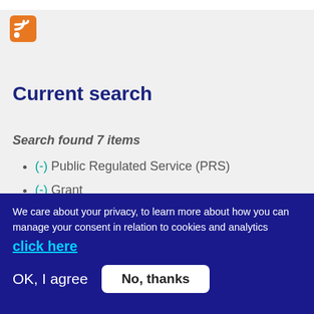[Figure (logo): RSS feed icon - orange square with white RSS symbol]
Current search
Search found 7 items
(-) Public Regulated Service (PRS)
(-) Grant
(-) Location Based Services (LBS)
(-) International cooperation
(-) Road
We care about your privacy, to learn more about how you can manage your consent in relation to cookies and analytics click here
OK, I agree
No, thanks